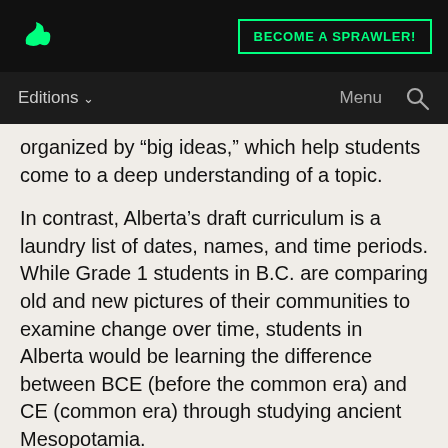BECOME A SPRAWLER!
Editions  Menu
organized by “big ideas,” which help students come to a deep understanding of a topic.
In contrast, Alberta’s draft curriculum is a laundry list of dates, names, and time periods. While Grade 1 students in B.C. are comparing old and new pictures of their communities to examine change over time, students in Alberta would be learning the difference between BCE (before the common era) and CE (common era) through studying ancient Mesopotamia.
A chance to reconcile